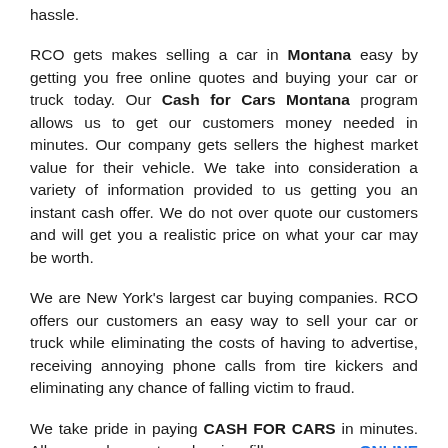hassle.
RCO gets makes selling a car in Montana easy by getting you free online quotes and buying your car or truck today. Our Cash for Cars Montana program allows us to get our customers money needed in minutes. Our company gets sellers the highest market value for their vehicle. We take into consideration a variety of information provided to us getting you an instant cash offer. We do not over quote our customers and will get you a realistic price on what your car may be worth.
We are New York's largest car buying companies. RCO offers our customers an easy way to sell your car or truck while eliminating the costs of having to advertise, receiving annoying phone calls from tire kickers and eliminating any chance of falling victim to fraud.
We take pride in paying CASH FOR CARS in minutes. All you have to do is fill our our ONLINE QUESTIONNAIRE